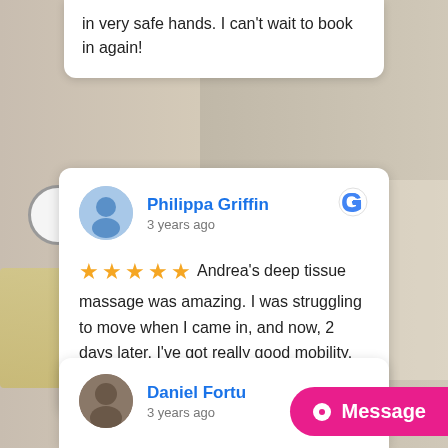in very safe hands. I can't wait to book in again!
Philippa Griffin
3 years ago
Andrea's deep tissue massage was amazing. I was struggling to move when I came in, and now, 2 days later, I've got really good mobility. Exactly what I needed. Very thorough.
Daniel Fortu...
3 years ago
Message